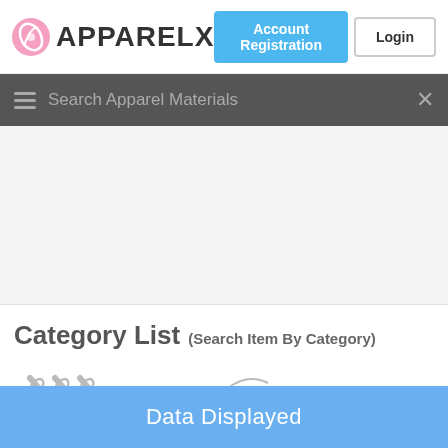APPARELX — Account Registration | Login
Search Apparel Materials
[Figure (screenshot): Advertisement area (blank/loading)]
Category List (Search Item By Category)
[Figure (illustration): Needles illustration on left side and sewing buttons illustration on right side]
Data Displayed